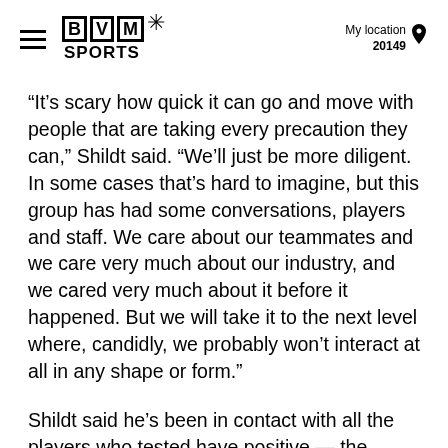BVM SPORTS | My location 20149
“It’s scary how quick it can go and move with people that are taking every precaution they can,” Shildt said. “We’ll just be more diligent. In some cases that’s hard to imagine, but this group has had some conversations, players and staff. We care about our teammates and we care very much about our industry, and we cared very much about it before it happened. But we will take it to the next level where, candidly, we probably won’t interact at all in any shape or form.”
Shildt said he’s been in contact with all the players who tested have positive — the others are from the Cardinals infield. Edwards...